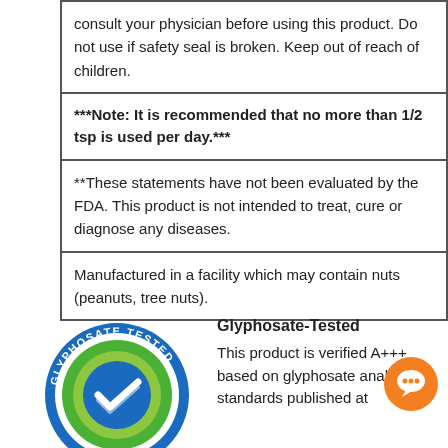| consult your physician before using this product. Do not use if safety seal is broken. Keep out of reach of children. |
| ***Note: It is recommended that no more than 1/2 tsp is used per day.*** |
| **These statements have not been evaluated by the FDA. This product is not intended to treat, cure or diagnose any diseases. |
| Manufactured in a facility which may contain nuts (peanuts, tree nuts). |
[Figure (logo): Glyphosate Tested circular certification logo with green checkmark and blue border]
Glyphosate-Tested
This product is verified A+++ based on glyphosate analysis standards published at